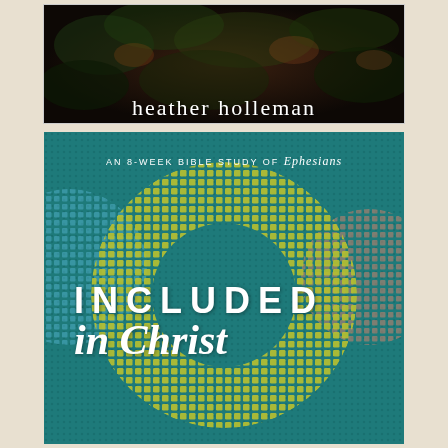[Figure (photo): Top portion of a book cover by Heather Holleman, showing a dark nature/foliage background with the author name 'heather holleman' in white text at the bottom]
[Figure (illustration): Book cover 'Included in Christ' - An 8-week Bible study of Ephesians by Heather Holleman. Teal/dark green textured background with a large circular mosaic pattern made of small squares in yellow-green color, with blue mosaic circle on left and pink/salmon mosaic circle on right. Title text 'INCLUDED in Christ' overlaid in white.]